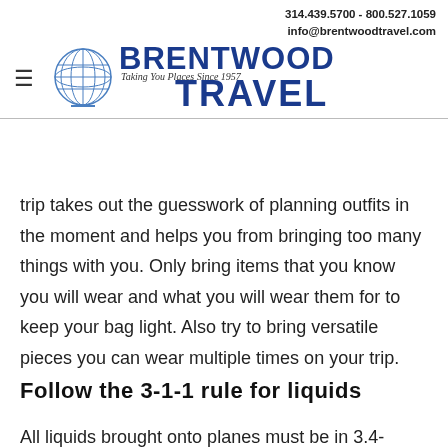314.439.5700 - 800.527.1059
info@brentwoodtravel.com
[Figure (logo): Brentwood Travel logo with globe icon, tagline 'Taking You Places Since 1957']
trip takes out the guesswork of planning outfits in the moment and helps you from bringing too many things with you. Only bring items that you know you will wear and what you will wear them for to keep your bag light. Also try to bring versatile pieces you can wear multiple times on your trip.
Follow the 3-1-1 rule for liquids
All liquids brought onto planes must be in 3.4-ounce